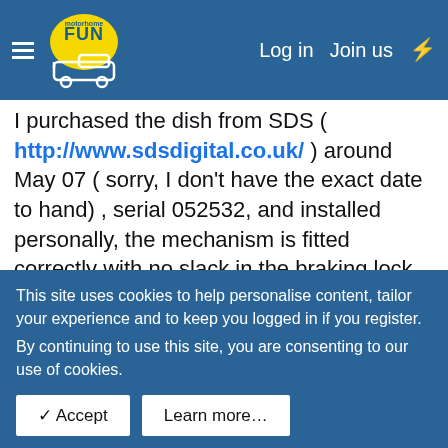motorhome FUN — Log in   Join us
I purchased the dish from SDS ( http://www.sdsdigital.co.uk/ ) around May 07 ( sorry, I don't have the exact date to hand) , serial 052532, and installed personally, the mechanism is fitted correctly with no slack in the braking lock.
Others I mentioned have been in contact with Shane at snellyvision ( http://www.snellyvision.co.uk/store/index.php ) it was he who said he had been in contact with you re this issue and you were working on a fix.
I have no issue with it other than it's poor performance when it's windy.
This site uses cookies to help personalise content, tailor your experience and to keep you logged in if you register.
By continuing to use this site, you are consenting to our use of cookies.